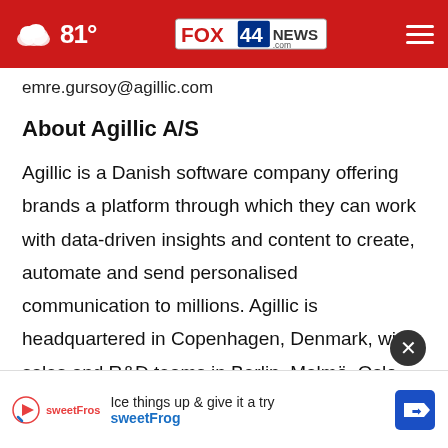81° FOX 44 NEWS.com
emre.gursoy@agillic.com
About Agillic A/S
Agillic is a Danish software company offering brands a platform through which they can work with data-driven insights and content to create, automate and send personalised communication to millions. Agillic is headquartered in Copenhagen, Denmark, with sales and R&D teams in Berlin, Malmö, Oslo, Cluj-N…
[Figure (screenshot): Advertisement banner for sweetFrog frozen yogurt: 'Ice things up & give it a try sweetFrog' with logo and directional sign icon]